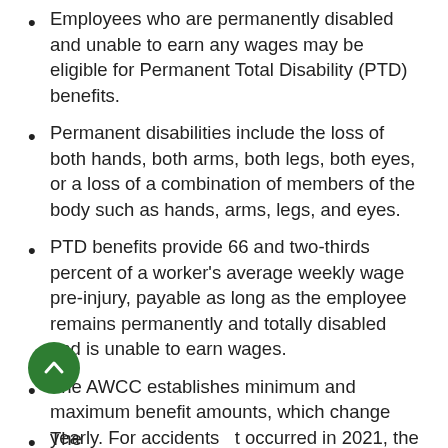Employees who are permanently disabled and unable to earn any wages may be eligible for Permanent Total Disability (PTD) benefits.
Permanent disabilities include the loss of both hands, both arms, both legs, both eyes, or a loss of a combination of members of the body such as hands, arms, legs, and eyes.
PTD benefits provide 66 and two-thirds percent of a worker's average weekly wage pre-injury, payable as long as the employee remains permanently and totally disabled and is unable to earn wages.
The AWCC establishes minimum and maximum benefit amounts, which change yearly. For accidents that occurred in 2021, the minimum benefit was $20 and the maximum was $736.
The...